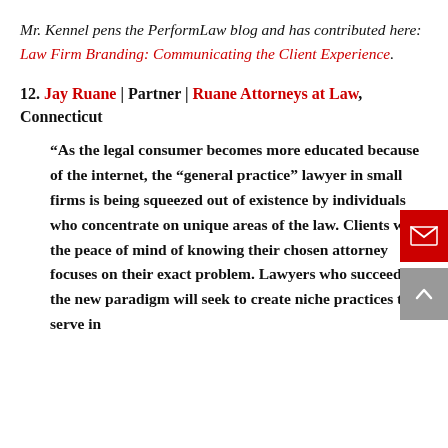Mr. Kennel pens the PerformLaw blog and has contributed here: Law Firm Branding: Communicating the Client Experience.
12. Jay Ruane | Partner | Ruane Attorneys at Law, Connecticut
“As the legal consumer becomes more educated because of the internet, the “general practice” lawyer in small firms is being squeezed out of existence by individuals who concentrate on unique areas of the law. Clients want the peace of mind of knowing their chosen attorney focuses on their exact problem. Lawyers who succeed in the new paradigm will seek to create niche practices to serve in